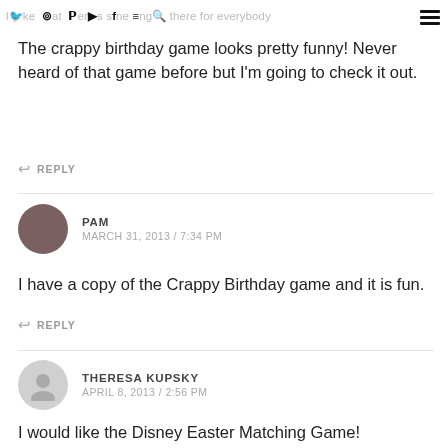like at there something there for everybody
The crappy birthday game looks pretty funny! Never heard of that game before but I'm going to check it out.
REPLY
PAM
MARCH 31, 2013 / 7:34 PM
I have a copy of the Crappy Birthday game and it is fun.
REPLY
THERESA KUPSKY
APRIL 8, 2013 / 2:56 PM
I would like the Disney Easter Matching Game!